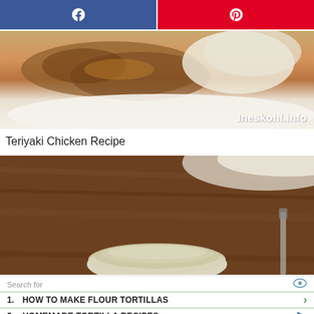[Figure (other): Facebook share button (blue) and Pinterest share button (red) side by side]
[Figure (photo): Close-up photo of teriyaki chicken with rice on a white plate, with watermark 'Ineskohl.info']
Teriyaki Chicken Recipe
[Figure (photo): Photo of a bowl on a wooden cutting board, likely showing sauce or broth]
Search for
1.  HOW TO MAKE FLOUR TORTILLAS
2.  HOMEMADE TORTILLA RECIPES